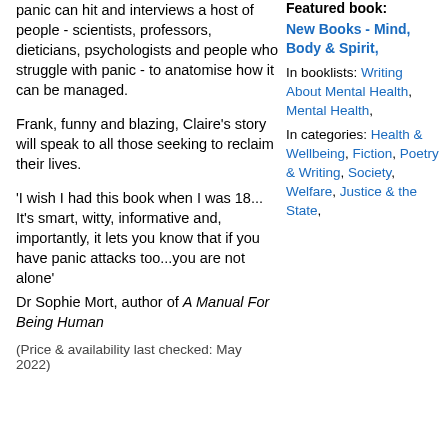panic can hit and interviews a host of people - scientists, professors, dieticians, psychologists and people who struggle with panic - to anatomise how it can be managed.
Frank, funny and blazing, Claire's story will speak to all those seeking to reclaim their lives.
'I wish I had this book when I was 18... It's smart, witty, informative and, importantly, it lets you know that if you have panic attacks too...you are not alone'
Dr Sophie Mort, author of A Manual For Being Human
(Price & availability last checked: May 2022)
Featured book:
New Books - Mind, Body & Spirit,
In booklists: Writing About Mental Health, Mental Health,
In categories: Health & Wellbeing, Fiction, Poetry & Writing, Society, Welfare, Justice & the State,